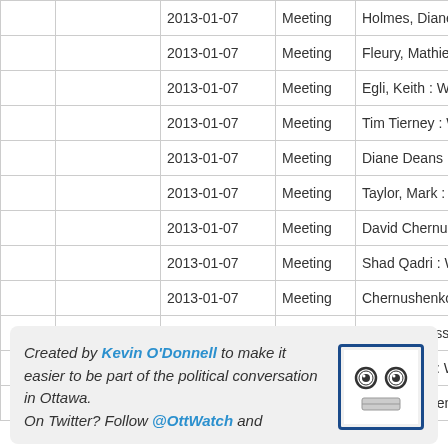|  |  | Date | Type | Name |
| --- | --- | --- | --- | --- |
|  |  | 2013-01-07 | Meeting | Holmes, Diane : Wa... |
|  |  | 2013-01-07 | Meeting | Fleury, Mathieu : Co... |
|  |  | 2013-01-07 | Meeting | Egli, Keith : Ward/Qu... |
|  |  | 2013-01-07 | Meeting | Tim Tierney : Ward/C... |
|  |  | 2013-01-07 | Meeting | Diane Deans : Ward... |
|  |  | 2013-01-07 | Meeting | Taylor, Mark : Ward/C... |
|  |  | 2013-01-07 | Meeting | David Chernushenko... |
|  |  | 2013-01-07 | Meeting | Shad Qadri : Ward/Q... |
|  |  | 2013-01-07 | Meeting | Chernushenko, Davi... |
|  |  | 2013-01-07 | Meeting | Rainer Bloess : Ward... |
|  |  | 2013-01-07 | Meeting | Peter Clark : Ward/Q... |
|  |  | 2013-01-07 | Meeting | Blais, Stephen : War... |
Created by Kevin O'Donnell to make it easier to be part of the political conversation in Ottawa. On Twitter? Follow @OttWatch and